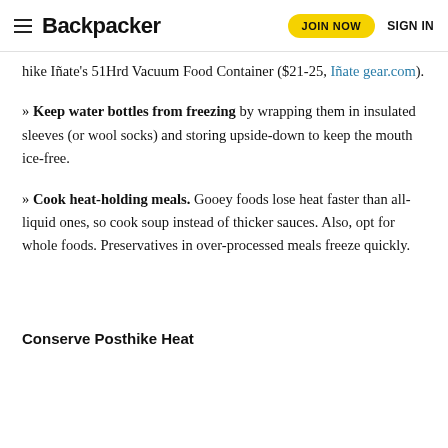Backpacker | JOIN NOW | SIGN IN
hike Iñate's 51Hrd Vacuum Food Container ($21-25, Iñate gear.com).
» Keep water bottles from freezing by wrapping them in insulated sleeves (or wool socks) and storing upside-down to keep the mouth ice-free.
» Cook heat-holding meals. Gooey foods lose heat faster than all-liquid ones, so cook soup instead of thicker sauces. Also, opt for whole foods. Preservatives in over-processed meals freeze quickly.
Conserve Posthike Heat